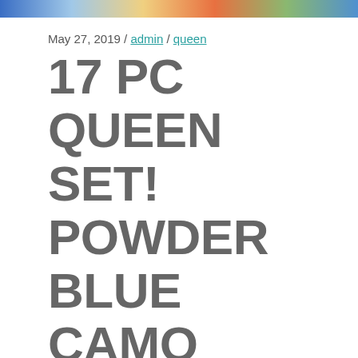[Figure (photo): Partial image at top of page showing colorful bedding or textile product]
May 27, 2019 / admin / queen
17 PC QUEEN SET! POWDER BLUE CAMO COMFORTER SHEETS CAMOUFLAGE WITH CURTAINS
17 PC QUEEN SET!! POWDER BLUE CAMO COMFORTER SHEETS CAMOUFLAGE WITH